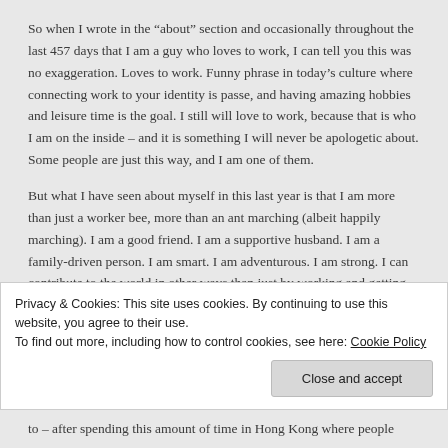So when I wrote in the “about” section and occasionally throughout the last 457 days that I am a guy who loves to work, I can tell you this was no exaggeration.  Loves to work.  Funny phrase in today’s culture where connecting work to your identity is passe, and having amazing hobbies and leisure time is the goal.  I still will love to work, because that is who I am on the inside – and it is something I will never be apologetic about.  Some people are just this way, and I am one of them.
But what I have seen about myself in this last year is that I am more than just a worker bee, more than an ant marching (albeit happily marching).  I am a good friend.  I am a supportive husband.  I am a family-driven person.  I am smart.  I am adventurous.  I am strong.  I can contribute to the world in other ways than just by working and getting results.  There are great people everywhere, with all kinds of backgrounds, and most of them are just as curious as you are.
Privacy & Cookies: This site uses cookies. By continuing to use this website, you agree to their use.
To find out more, including how to control cookies, see here: Cookie Policy
Close and accept
to – after spending this amount of time in Hong Kong where people